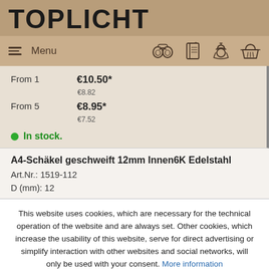TOPLICHT
Menu
| From 1 | €10.50* | €8.82 |
| From 5 | €8.95* | €7.52 |
In stock.
A4-Schäkel geschweift 12mm Innen6K Edelstahl
Art.Nr.: 1519-112
D (mm): 12
This website uses cookies, which are necessary for the technical operation of the website and are always set. Other cookies, which increase the usability of this website, serve for direct advertising or simplify interaction with other websites and social networks, will only be used with your consent. More information
Decline
Accept all
Configure